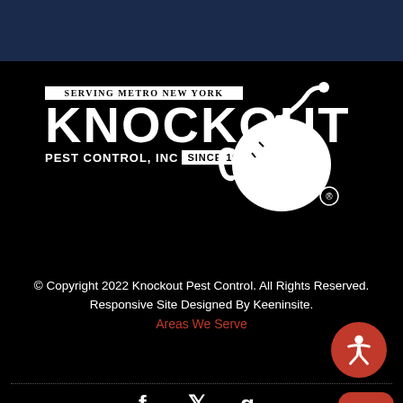[Figure (logo): Knockout Pest Control, Inc. logo with bomb icon, text: Serving Metro New York, KNOCKOUT, PEST CONTROL, INC SINCE 1975, registered trademark]
© Copyright 2022 Knockout Pest Control. All Rights Reserved.
Responsive Site Designed By Keeninsite.
Areas We Serve
[Figure (illustration): Social media icons: Facebook (f), Twitter (bird), Google+ (g)]